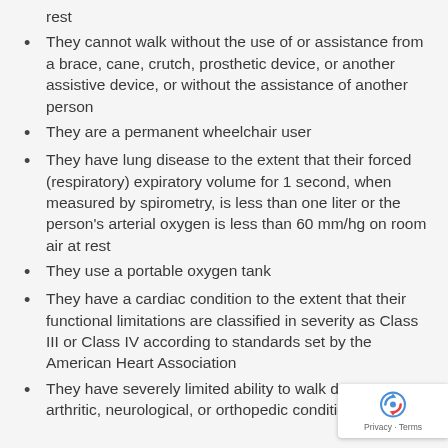rest
They cannot walk without the use of or assistance from a brace, cane, crutch, prosthetic device, or another assistive device, or without the assistance of another person
They are a permanent wheelchair user
They have lung disease to the extent that their forced (respiratory) expiratory volume for 1 second, when measured by spirometry, is less than one liter or the person's arterial oxygen is less than 60 mm/hg on room air at rest
They use a portable oxygen tank
They have a cardiac condition to the extent that their functional limitations are classified in severity as Class III or Class IV according to standards set by the American Heart Association
They have severely limited ability to walk due to an arthritic, neurological, or orthopedic condition